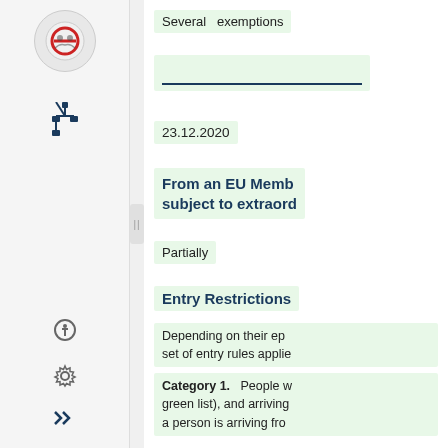Several exemptions
23.12.2020
From an EU Member State subject to extraord
Partially
Entry Restrictions
Depending on their ep set of entry rules applie
Category 1. People (green list), and arriving a person is arriving fro